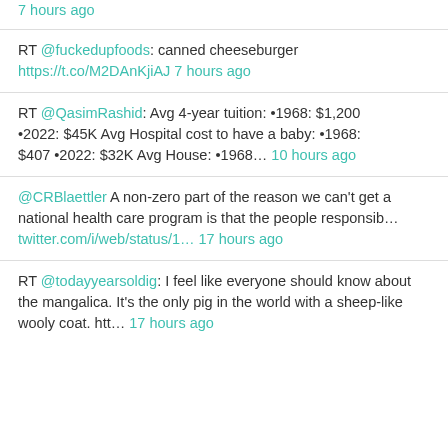7 hours ago
RT @fuckedupfoods: canned cheeseburger https://t.co/M2DAnKjiAJ 7 hours ago
RT @QasimRashid: Avg 4-year tuition: •1968: $1,200 •2022: $45K Avg Hospital cost to have a baby: •1968: $407 •2022: $32K Avg House: •1968... 10 hours ago
@CRBlaettler A non-zero part of the reason we can't get a national health care program is that the people responsib... twitter.com/i/web/status/1... 17 hours ago
RT @todayyearsoldig: I feel like everyone should know about the mangalica. It's the only pig in the world with a sheep-like wooly coat. htt... 17 hours ago